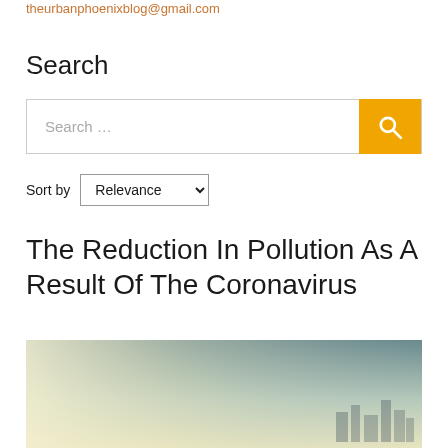theurbanphoenixblog@gmail.com
Search
[Figure (screenshot): Search bar with orange search button containing magnifying glass icon]
Sort by Relevance
The Reduction In Pollution As A Result Of The Coronavirus
[Figure (photo): Smoggy cityscape with hazy sky, buildings barely visible through pollution. Sky transitions from yellowish-white at bottom to grey-blue at top.]